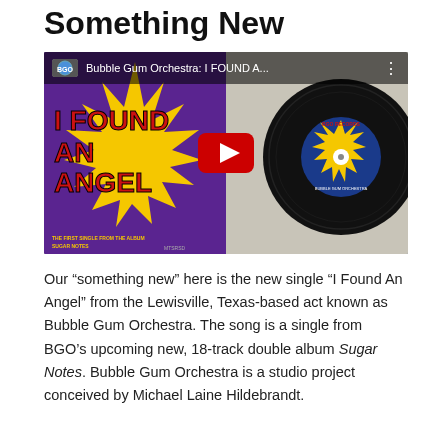Something New
[Figure (screenshot): YouTube video thumbnail showing Bubble Gum Orchestra 'I Found An Angel' single — left half shows colorful album art with red text on purple/yellow sunburst background, right half shows a vinyl record with BGO Records label. YouTube player overlay with play button.]
Our “something new” here is the new single “I Found An Angel” from the Lewisville, Texas-based act known as Bubble Gum Orchestra. The song is a single from BGO’s upcoming new, 18-track double album Sugar Notes. Bubble Gum Orchestra is a studio project conceived by Michael Laine Hildebrandt.